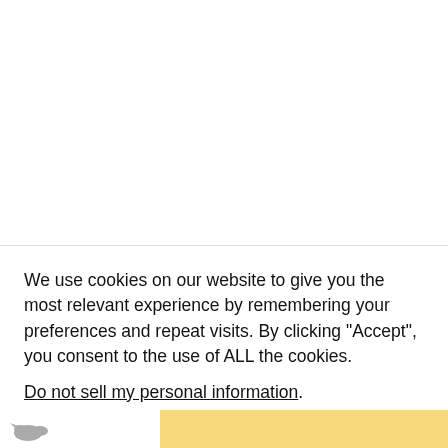[Figure (screenshot): White empty area representing top portion of a webpage, with a thin horizontal divider line at the bottom.]
We use cookies on our website to give you the most relevant experience by remembering your preferences and repeat visits. By clicking “Accept”, you consent to the use of ALL the cookies.
Do not sell my personal information.
Cookie settings
ACCEPT
[Figure (screenshot): Bottom strip showing a partial logo (bird silhouette) on white background at left and a yellow/gold colored bar on the right.]